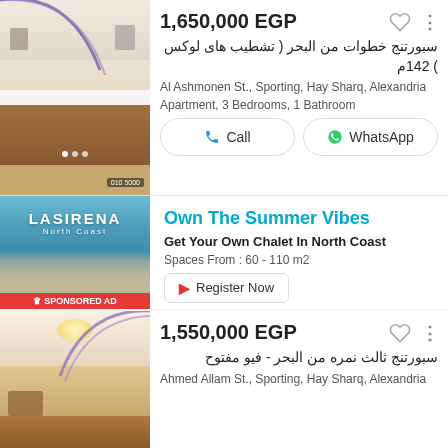[Figure (photo): Interior photo of an apartment showing kitchen/living area with wooden counters and decorated ceiling]
1,650,000 EGP
سبورتنج خطوات من البحر ( تشطيب هاى لوكس ) 142م
Al Ashmonen St., Sporting, Hay Sharq, Alexandria
Apartment, 3 Bedrooms, 1 Bathroom
Call
WhatsApp
[Figure (photo): LASIRENA North Coast sponsored advertisement showing resort buildings near the sea]
Own The Summer Vibes
Get Your Own Chalet In North Coast
Spaces From : 60 - 110 m2
Register Now
[Figure (photo): Interior photo of an apartment with warm lighting and wooden furniture]
1,550,000 EGP
سبورتنج ثالث نمره من البحر - فيو مفتوح
Ahmed Allam St., Sporting, Hay Sharq, Alexandria